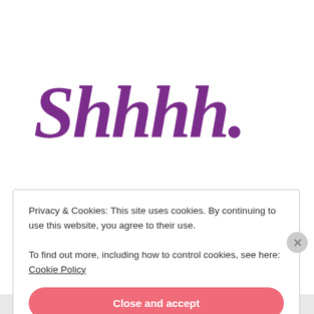Shhhh.
Privacy & Cookies: This site uses cookies. By continuing to use this website, you agree to their use.
To find out more, including how to control cookies, see here: Cookie Policy
Close and accept